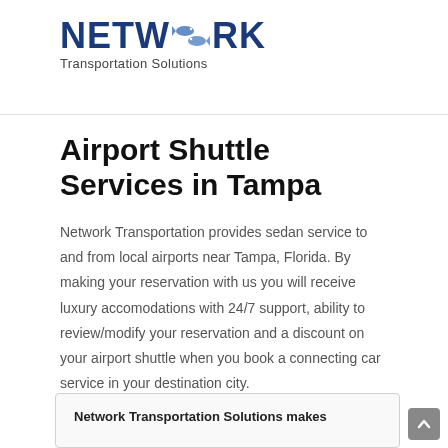NETWORK Transportation Solutions
Airport Shuttle Services in Tampa
Network Transportation provides sedan service to and from local airports near Tampa, Florida. By making your reservation with us you will receive luxury accomodations with 24/7 support, ability to review/modify your reservation and a discount on your airport shuttle when you book a connecting car service in your destination city.
Network Transportation Solutions makes